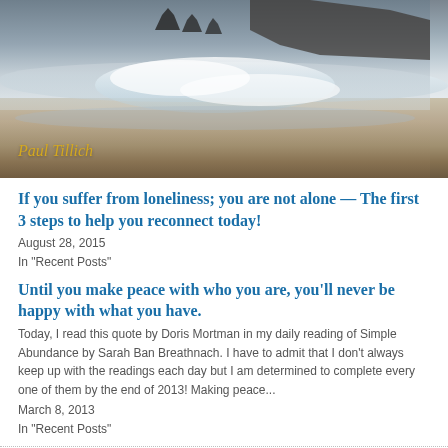[Figure (photo): Black and white coastal scene with dramatic waves crashing on a dark beach, rocky sea stacks silhouetted in foggy background. Text overlay reads 'Paul Tillich' in gold italic script at bottom left.]
If you suffer from loneliness; you are not alone — The first 3 steps to help you reconnect today!
August 28, 2015
In "Recent Posts"
Until you make peace with who you are, you'll never be happy with what you have.
Today, I read this quote by Doris Mortman in my daily reading of Simple Abundance by Sarah Ban Breathnach. I have to admit that I don't always keep up with the readings each day but I am determined to complete every one of them by the end of 2013! Making peace...
March 8, 2013
In "Recent Posts"